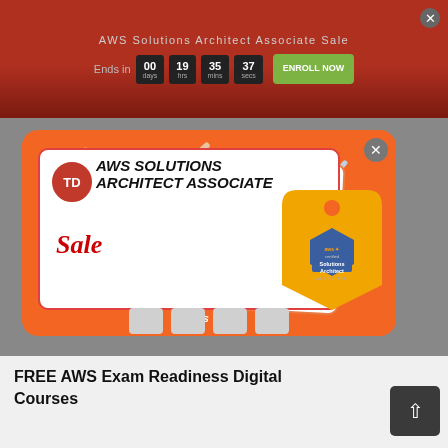AWS Solutions Architect Associate Sale
Ends in 00 days 19 hrs 35 mins 37 secs
[Figure (screenshot): Orange promotional popup modal for AWS Solutions Architect Associate Sale with a white sale card showing TD logo, 'AWS SOLUTIONS ARCHITECT ASSOCIATE Sale' text, price tag with AWS certified badge, and 'ends in...' text at the bottom]
FREE AWS Exam Readiness Digital Courses